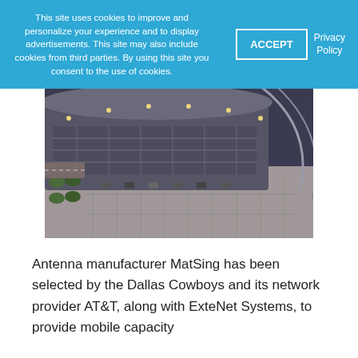This site uses cookies to improve and personalize your experience and to display advertisements. This site may also include cookies from third parties. By using this site you consent to the use of cookies.
[Figure (photo): Aerial photograph of AT&T Stadium (Dallas Cowboys) showing the stadium structure, parking lots, and surrounding area at dusk/evening with lights on.]
Antenna manufacturer MatSing has been selected by the Dallas Cowboys and its network provider AT&T, along with ExteNet Systems, to provide mobile capacity